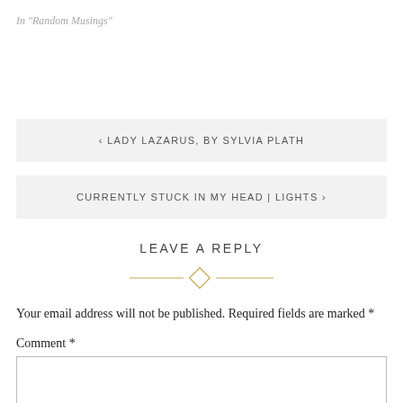In "Random Musings"
‹ LADY LAZARUS, BY SYLVIA PLATH
CURRENTLY STUCK IN MY HEAD | LIGHTS ›
LEAVE A REPLY
Your email address will not be published. Required fields are marked *
Comment *